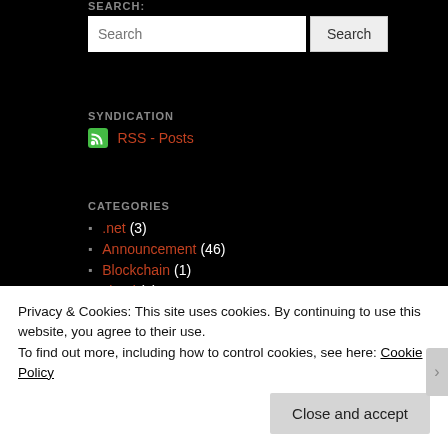SEARCH:
Search [input] Search [button]
SYNDICATION
RSS - Posts
CATEGORIES
.net (3)
Announcement (46)
Blockchain (1)
cloud (3)
Data (7)
Enhancements (13)
Events (13)
Everlive (7)
Privacy & Cookies: This site uses cookies. By continuing to use this website, you agree to their use. To find out more, including how to control cookies, see here: Cookie Policy
Close and accept